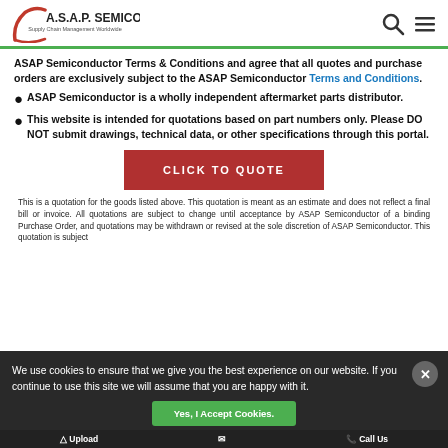[Figure (logo): A.S.A.P. Semiconductor logo with tagline 'Supply Chain Management Worldwide' and red arc graphic]
ASAP Semiconductor Terms & Conditions and agree that all quotes and purchase orders are exclusively subject to the ASAP Semiconductor Terms and Conditions.
ASAP Semiconductor is a wholly independent aftermarket parts distributor.
This website is intended for quotations based on part numbers only. Please DO NOT submit drawings, technical data, or other specifications through this portal.
[Figure (other): Red button labeled CLICK TO QUOTE]
This is a quotation for the goods listed above. This quotation is meant as an estimate and does not reflect a final bill or invoice. All quotations are subject to change until acceptance by ASAP Semiconductor of a binding Purchase Order, and quotations may be withdrawn or revised at the sole discretion of ASAP Semiconductor. This quotation is subject to...
We use cookies to ensure that we give you the best experience on our website. If you continue to use this site we will assume that you are happy with it.